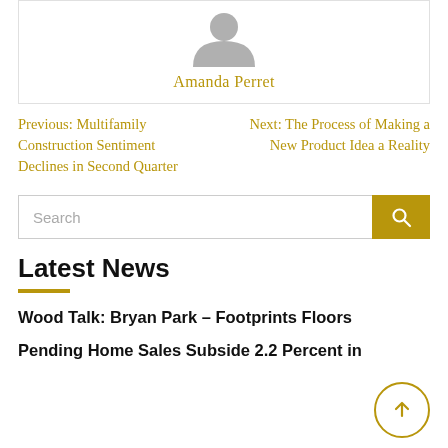[Figure (photo): Default user avatar icon (grey silhouette of a person)]
Amanda Perret
Previous: Multifamily Construction Sentiment Declines in Second Quarter
Next: The Process of Making a New Product Idea a Reality
[Figure (other): Search bar with gold search button]
Latest News
Wood Talk: Bryan Park – Footprints Floors
Pending Home Sales Subside 2.2 Percent in...